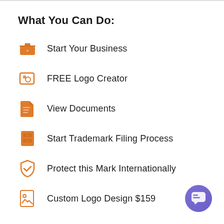What You Can Do:
Start Your Business
FREE Logo Creator
View Documents
Start Trademark Filing Process
Protect this Mark Internationally
Custom Logo Design $159
[Figure (illustration): Purple circular chat/support button in bottom-right corner]